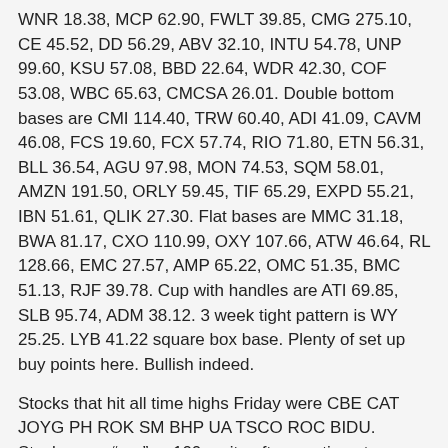WNR 18.38, MCP 62.90, FWLT 39.85, CMG 275.10, CE 45.52, DD 56.29, ABV 32.10, INTU 54.78, UNP 99.60, KSU 57.08, BBD 22.64, WDR 42.30, COF 53.08, WBC 65.63, CMCSA 26.01. Double bottom bases are CMI 114.40, TRW 60.40, ADI 41.09, CAVM 46.08, FCS 19.60, FCX 57.74, RIO 71.80, ETN 56.31, BLL 36.54, AGU 97.98, MON 74.53, SQM 58.01, AMZN 191.50, ORLY 59.45, TIF 65.29, EXPD 55.21, IBN 51.61, QLIK 27.30. Flat bases are MMC 31.18, BWA 81.17, CXO 110.99, OXY 107.66, ATW 46.64, RL 128.66, EMC 27.57, AMP 65.22, OMC 51.35, BMC 51.13, RJF 39.78. Cup with handles are ATI 69.85, SLB 95.74, ADM 38.12. 3 week tight pattern is WY 25.25. LYB 41.22 square box base. Plenty of set up buy points here. Bullish indeed.
Stocks that hit all time highs Friday were CBE CAT JOYG PH ROK SM BHP UA TSCO ROC BIDU. Stocks near "par" or 100, quite often continue to power ahead once it crosses that triple digit price level. So it bears to keep a close eye on stocks near that 100 handle. They include PH ROK DVN NBL SLB BHP CLF DE FOSL EL PPG UNP. Stocks which have recently risen above par are JOYG PXD OXY OPEN EMN PX.